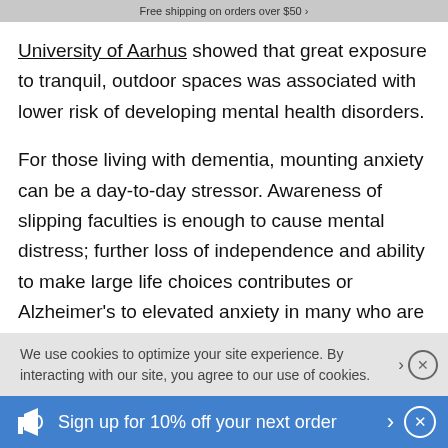Free shipping on orders over $50
University of Aarhus showed that great exposure to tranquil, outdoor spaces was associated with lower risk of developing mental health disorders.
For those living with dementia, mounting anxiety can be a day-to-day stressor. Awareness of slipping faculties is enough to cause mental distress; further loss of independence and ability to make large life choices contributes or Alzheimer's to elevated anxiety in many who are experiencing chronic memory loss.
Being outdoors can help to sooth the growing stress.
We use cookies to optimize your site experience. By interacting with our site, you agree to our use of cookies.
Sign up for 10% off your next order